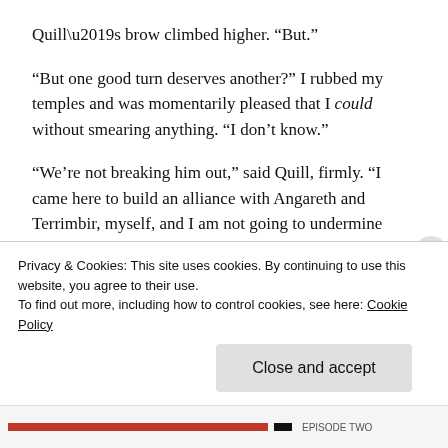Quill’s brow climbed higher. “But.”
“But one good turn deserves another?” I rubbed my temples and was momentarily pleased that I could without smearing anything. “I don’t know.”
“We’re not breaking him out,” said Quill, firmly. “I came here to build an alliance with Angareth and Terrimbir, myself, and I am not going to undermine that.”
“Did you? Is that endorsed by your king? How fascinatingly proactive.”
Privacy & Cookies: This site uses cookies. By continuing to use this website, you agree to their use.
To find out more, including how to control cookies, see here: Cookie Policy